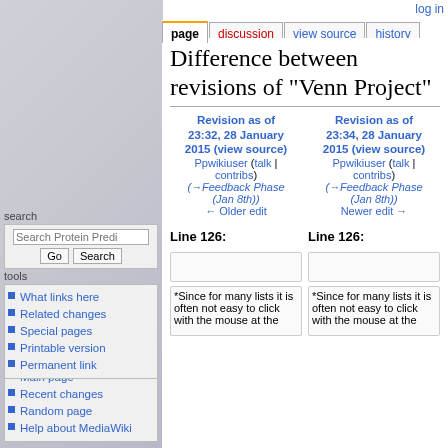log in
page | discussion | view source | history
Difference between revisions of "Venn Project"
navigation
Main page
Recent changes
Random page
Help about MediaWiki
search
tools
What links here
Related changes
Special pages
Printable version
Revision as of 23:32, 28 January 2015 (view source)
Ppwikiuser (talk | contribs)
(→Feedback Phase (Jan 8th))
← Older edit
Revision as of 23:34, 28 January 2015 (view source)
Ppwikiuser (talk | contribs)
(→Feedback Phase (Jan 8th))
Newer edit →
Line 126:
Line 126:
*Since for many lists it is often not easy to click with the mouse at the
*Since for many lists it is often not easy to click with the mouse at the